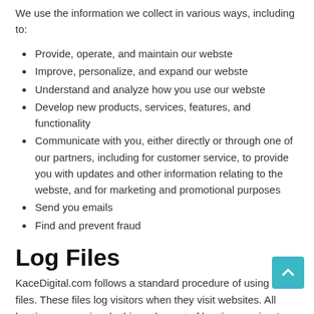We use the information we collect in various ways, including to:
Provide, operate, and maintain our webste
Improve, personalize, and expand our webste
Understand and analyze how you use our webste
Develop new products, services, features, and functionality
Communicate with you, either directly or through one of our partners, including for customer service, to provide you with updates and other information relating to the webste, and for marketing and promotional purposes
Send you emails
Find and prevent fraud
Log Files
KaceDigital.com follows a standard procedure of using log files. These files log visitors when they visit websites. All hosting companies do this and a part of hosting services' analytics. The information collected by log files include internet protocol (IP)